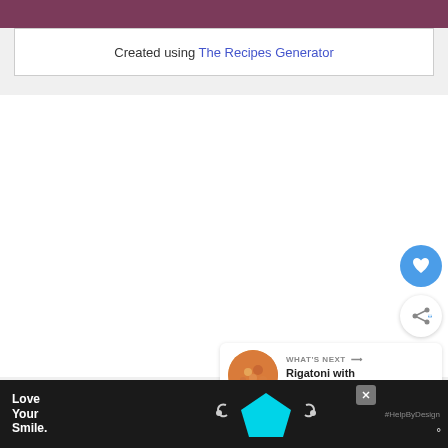[Figure (screenshot): Purple header bar at the top of a recipe website page]
Created using The Recipes Generator
[Figure (screenshot): White content area of webpage with a favorite heart button (blue circle with heart icon) and a share button (white circle with share icon), and a 'WHAT'S NEXT' card showing Rigatoni with Sausage an... with a food thumbnail]
[Figure (screenshot): Advertisement banner at the bottom: dark background with 'Love Your Smile.' text in white, a cyan pentagon/shield shape graphic with handles on either side, #HelpByDesign hashtag, close button, and a logo]